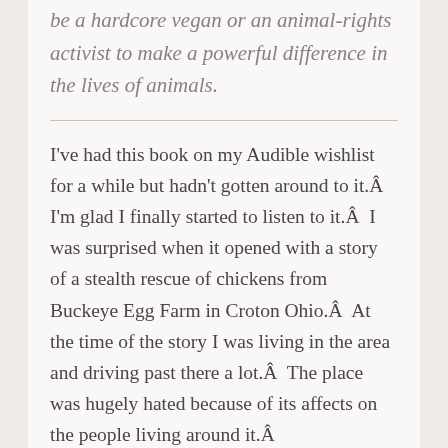be a hardcore vegan or an animal-rights activist to make a powerful difference in the lives of animals.
I've had this book on my Audible wishlist for a while but hadn't gotten around to it.Â  I'm glad I finally started to listen to it.Â  I was surprised when it opened with a story of a stealth rescue of chickens from Buckeye Egg Farm in Croton Ohio.Â  At the time of the story I was living in the area and driving past there a lot.Â  The place was hugely hated because of its affects on the people living around it.Â